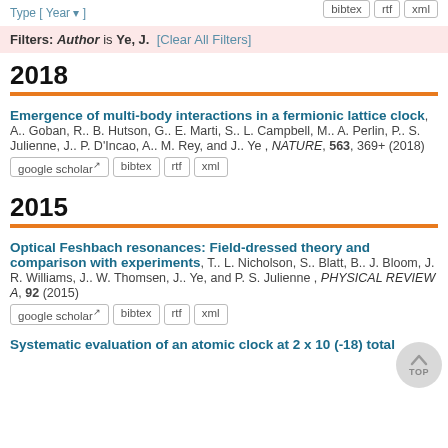Type [ Year ▾ ]   bibtex   rtf   xml
Filters: Author is Ye, J. [Clear All Filters]
2018
Emergence of multi-body interactions in a fermionic lattice clock, A.. Goban, R.. B. Hutson, G.. E. Marti, S.. L. Campbell, M.. A. Perlin, P.. S. Julienne, J.. P. D'Incao, A.. M. Rey, and J.. Ye , NATURE, 563, 369+ (2018) [google scholar] [bibtex] [rtf] [xml]
2015
Optical Feshbach resonances: Field-dressed theory and comparison with experiments, T.. L. Nicholson, S.. Blatt, B.. J. Bloom, J. R. Williams, J.. W. Thomsen, J.. Ye, and P. S. Julienne , PHYSICAL REVIEW A, 92 (2015) [google scholar] [bibtex] [rtf] [xml]
Systematic evaluation of an atomic clock at 2 x 10 (-18) total